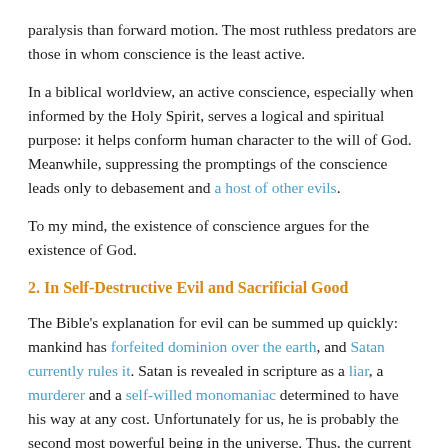paralysis than forward motion. The most ruthless predators are those in whom conscience is the least active.
In a biblical worldview, an active conscience, especially when informed by the Holy Spirit, serves a logical and spiritual purpose: it helps conform human character to the will of God. Meanwhile, suppressing the promptings of the conscience leads only to debasement and a host of other evils.
To my mind, the existence of conscience argues for the existence of God.
2. In Self-Destructive Evil and Sacrificial Good
The Bible's explanation for evil can be summed up quickly: mankind has forfeited dominion over the earth, and Satan currently rules it. Satan is revealed in scripture as a liar, a murderer and a self-willed monomaniac determined to have his way at any cost. Unfortunately for us, he is probably the second most powerful being in the universe. Thus, the current state of our planet reflects not just the imprint of its original design, but also the capricious, vicious disposition of the spiritual power currently running the